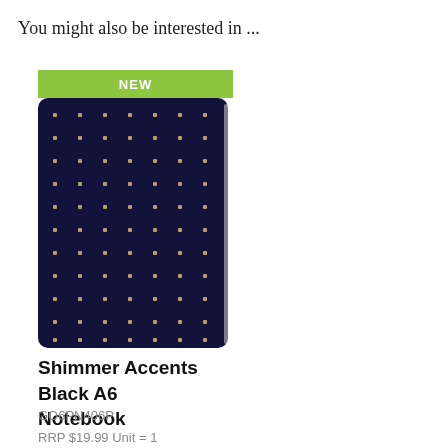You might also be interested in ...
[Figure (photo): A black A6 notebook with gold/shimmer dot pattern on the cover, with a green 'NEW' badge above it]
Shimmer Accents Black A6 Notebook
GO6PN406P
RRP $19.99 Unit = 1